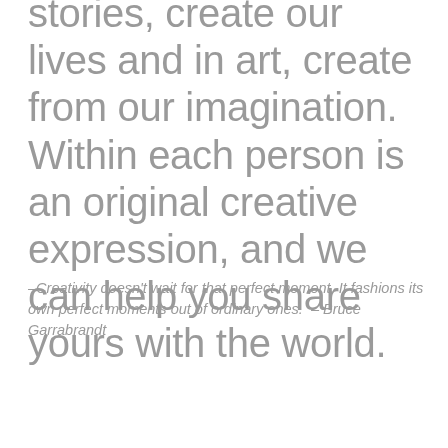stories, create our lives and in art, create from our imagination. Within each person is an original creative expression, and we can help you share yours with the world.
–Creativity doesn't wait for that perfect moment. It fashions its own perfect moments out of ordinary ones.  – Bruce Garrabrandt